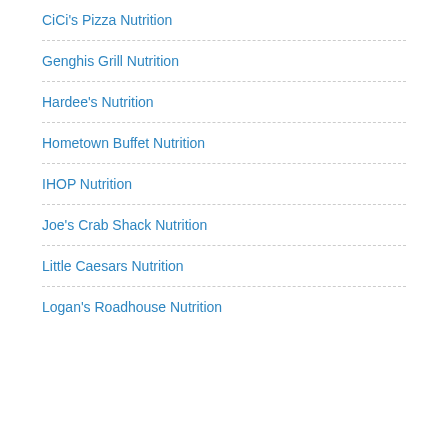CiCi's Pizza Nutrition
Genghis Grill Nutrition
Hardee's Nutrition
Hometown Buffet Nutrition
IHOP Nutrition
Joe's Crab Shack Nutrition
Little Caesars Nutrition
Logan's Roadhouse Nutrition